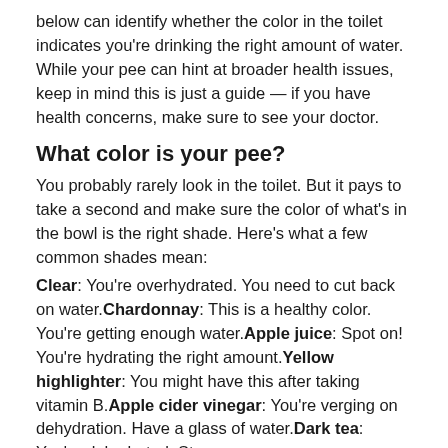below can identify whether the color in the toilet indicates you're drinking the right amount of water. While your pee can hint at broader health issues, keep in mind this is just a guide — if you have health concerns, make sure to see your doctor.
What color is your pee?
You probably rarely look in the toilet. But it pays to take a second and make sure the color of what's in the bowl is the right shade. Here's what a few common shades mean:
Clear: You're overhydrated. You need to cut back on water. Chardonnay: This is a healthy color. You're getting enough water. Apple juice: Spot on! You're hydrating the right amount. Yellow highlighter: You might have this after taking vitamin B. Apple cider vinegar: You're verging on dehydration. Have a glass of water. Dark tea: You're dehydrated. Stop